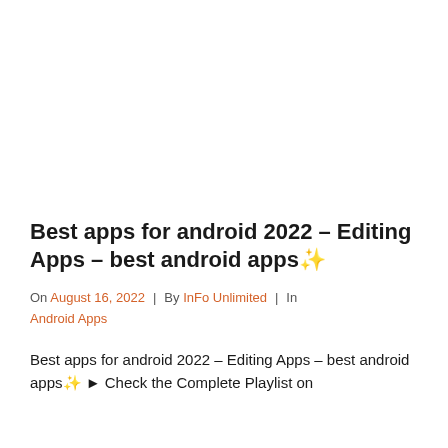Best apps for android 2022 – Editing Apps – best android apps ✨
On August 16, 2022 | By InFo Unlimited | In Android Apps
Best apps for android 2022 – Editing Apps – best android apps ✨ ► Check the Complete Playlist on